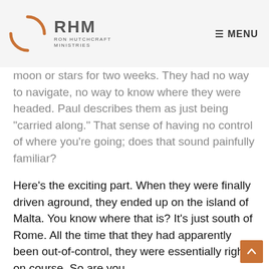RHM RON HUTCHCRAFT MINISTRIES  ☰ MENU
moon or stars for two weeks. They had no way to navigate, no way to know where they were headed. Paul describes them as just being "carried along." That sense of having no control of where you're going; does that sound painfully familiar?
Here's the exciting part. When they were finally driven aground, they ended up on the island of Malta. You know where that is? It's just south of Rome. All the time that they had apparently been out-of-control, they were essentially right on course. So are you.